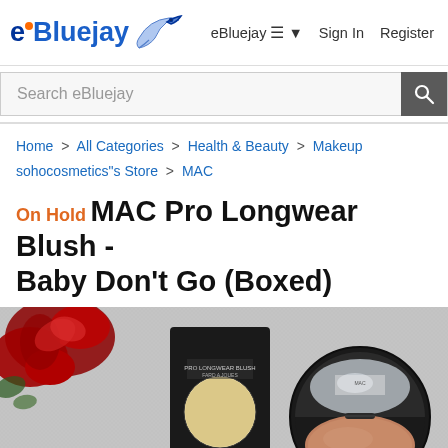eBluejay  eBluejay ≡ ▾  Sign In  Register
Search eBluejay
Home > All Categories > Health & Beauty > Makeup > sohocosmetics"s Store > MAC
On Hold MAC Pro Longwear Blush - Baby Don't Go (Boxed)
[Figure (photo): Product photo of MAC Pro Longwear Blush Baby Don't Go, showing the compact box and open compact with blush pan visible, alongside a red rose decoration on a gray fabric background.]